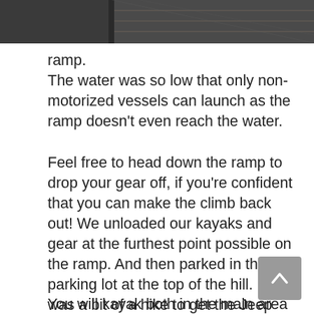[Figure (photo): Partial top view of a boat launch ramp, showing dark pavement and wooden dock structure]
ramp.
The water was so low that only non-motorized vessels can launch as the ramp doesn't even reach the water.
Feel free to head down the ramp to drop your gear off, if you're confident that you can make the climb back out! We unloaded our kayaks and gear at the furthest point possible on the ramp. And then parked in the parking lot at the top of the hill. It was a bit of a hike to get the Jeep when we returned.
You will kayak both in the main area of Lake